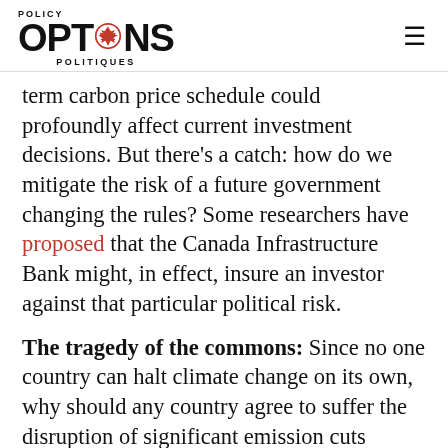POLICY OPTIONS POLITIQUES
term carbon price schedule could profoundly affect current investment decisions. But there’s a catch: how do we mitigate the risk of a future government changing the rules? Some researchers have proposed that the Canada Infrastructure Bank might, in effect, insure an investor against that particular political risk.
The tragedy of the commons: Since no one country can halt climate change on its own, why should any country agree to suffer the disruption of significant emission cuts unless all do? Collective action is needed but there is no global authority that can